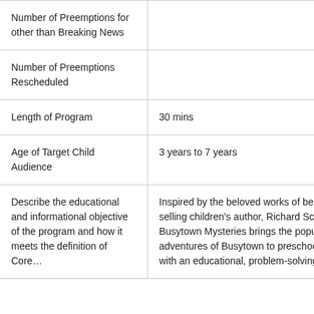| Number of Preemptions for other than Breaking News |  |
| Number of Preemptions Rescheduled |  |
| Length of Program | 30 mins |
| Age of Target Child Audience | 3 years to 7 years |
| Describe the educational and informational objective of the program and how it meets the definition of Core… | Inspired by the beloved works of best-selling children's author, Richard Scarry, Busytown Mysteries brings the popular adventures of Busytown to preschoolers with an educational, problem-solving… |